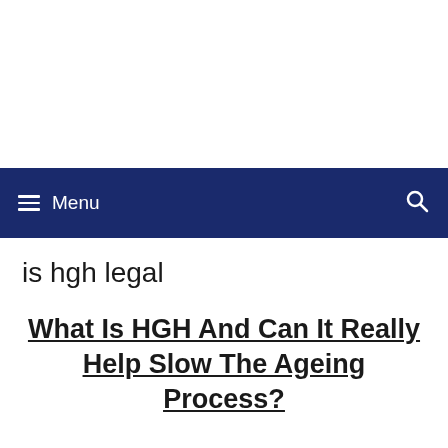Menu
is hgh legal
What Is HGH And Can It Really Help Slow The Ageing Process?